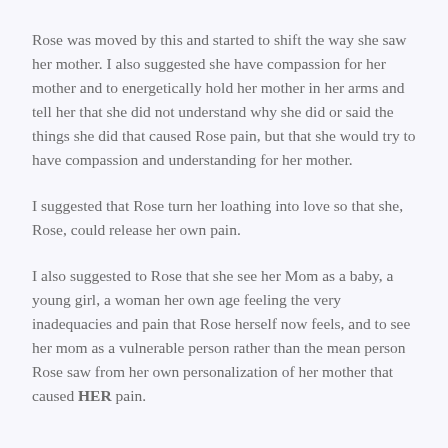Rose was moved by this and started to shift the way she saw her mother. I also suggested she have compassion for her mother and to energetically hold her mother in her arms and tell her that she did not understand why she did or said the things she did that caused Rose pain, but that she would try to have compassion and understanding for her mother.
I suggested that Rose turn her loathing into love so that she, Rose, could release her own pain.
I also suggested to Rose that she see her Mom as a baby, a young girl, a woman her own age feeling the very inadequacies and pain that Rose herself now feels, and to see her mom as a vulnerable person rather than the mean person Rose saw from her own personalization of her mother that caused HER pain.